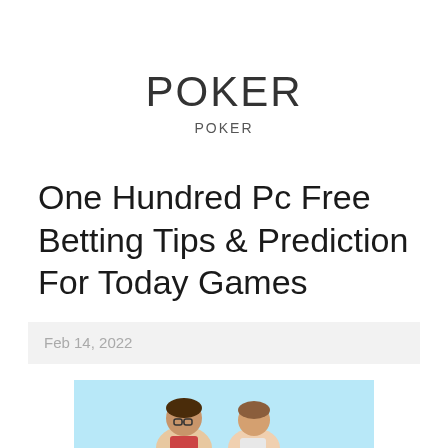POKER
POKER
One Hundred Pc Free Betting Tips & Prediction For Today Games
Feb 14, 2022
[Figure (illustration): Cartoon illustration of two people on a light blue background, partially visible at the bottom of the page]